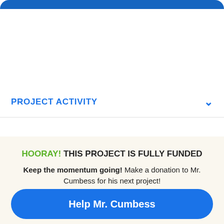PROJECT ACTIVITY
HOORAY! THIS PROJECT IS FULLY FUNDED
Keep the momentum going! Make a donation to Mr. Cumbess for his next project!
Help Mr. Cumbess